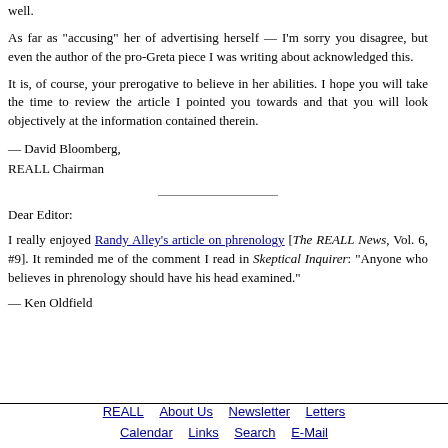well.
As far as "accusing" her of advertising herself — I'm sorry you disagree, but even the author of the pro-Greta piece I was writing about acknowledged this.
It is, of course, your prerogative to believe in her abilities. I hope you will take the time to review the article I pointed you towards and that you will look objectively at the information contained therein.
— David Bloomberg,
REALL Chairman
Dear Editor:
I really enjoyed Randy Alley's article on phrenology [The REALL News, Vol. 6, #9]. It reminded me of the comment I read in Skeptical Inquirer: "Anyone who believes in phrenology should have his head examined."
— Ken Oldfield
REALL   About Us   Newsletter   Letters   Calendar   Links   Search   E-Mail